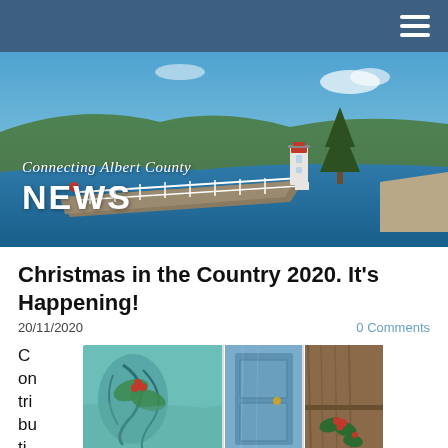Connecting Albert County NEWS
Christmas in the Country 2020. It's Happening!
20/11/2020
0 Comments
Contributing
[Figure (photo): Collage of three images showing Christmas crafts and decorations including holly leaf painting, painted wooden doors, and rustic wooden shelving with Christmas decorations]